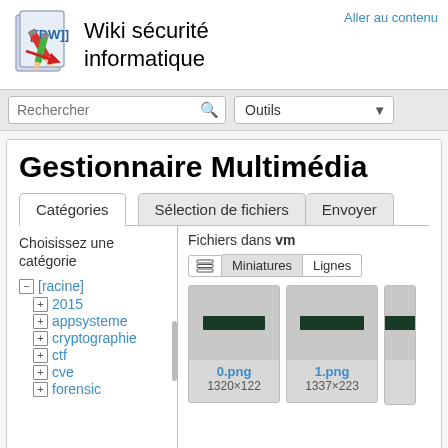Wiki sécurité informatique — Aller au contenu
Gestionnaire Multimédia
Catégories | Sélection de fichiers | Envoyer
Choisissez une catégorie
Fichiers dans vm
− [racine]
+ 2015
+ appsysteme
+ cryptographie
+ ctf
+ cve
+ forensic
[Figure (screenshot): Thumbnail of file 0.png, 1320×122]
0.png
1320×122
[Figure (screenshot): Thumbnail of file 1.png, 1337×223]
1.png
1337×223